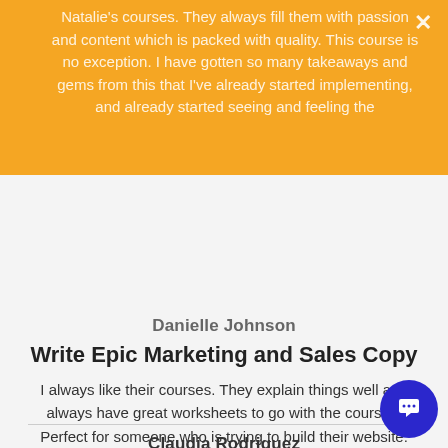Natalie's courses. They always fill them with passion and content which is packed with quality. This course is no exception. I have gotten so many takeaways and gems from this that I've already started implementing, and already started seeing and feeling the results from. This course is one of those rare ones that could accurately be described as "life changing".
Danielle Johnson
Write Epic Marketing and Sales Copy
I always like their courses. They explain things well and always have great worksheets to go with the courses. Perfect for someone who is trying to build their website.
Claudia Rodriguez